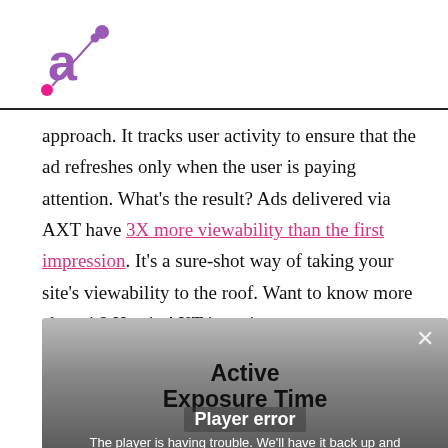approach. It tracks user activity to ensure that the ad refreshes only when the user is paying attention. What’s the result? Ads delivered via AXT have 3X more viewability than the first impression. It’s a sure-shot way of taking your site’s viewability to the roof. Want to know more about it? Here’s AXT in action:
[Figure (screenshot): A video player screenshot showing 'Active Exposure Time' title with a player error overlay: 'Player error - The player is having trouble. We’ll have it back up and...']